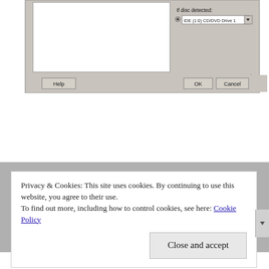[Figure (screenshot): Partial screenshot of a Windows dialog box showing a CD/DVD drive dropdown selector and Help, OK, Cancel buttons at the bottom.]
Privacy & Cookies: This site uses cookies. By continuing to use this website, you agree to their use.
To find out more, including how to control cookies, see here: Cookie Policy
Close and accept